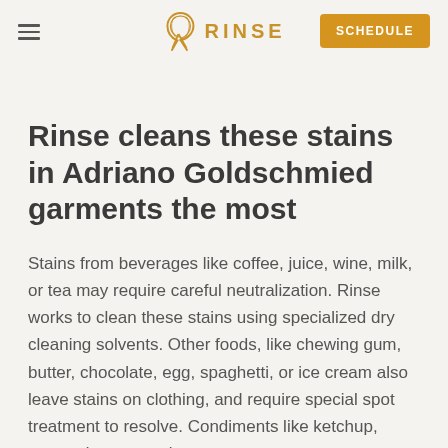RINSE — SCHEDULE
Rinse cleans these stains in Adriano Goldschmied garments the most
Stains from beverages like coffee, juice, wine, milk, or tea may require careful neutralization. Rinse works to clean these stains using specialized dry cleaning solvents. Other foods, like chewing gum, butter, chocolate, egg, spaghetti, or ice cream also leave stains on clothing, and require special spot treatment to resolve. Condiments like ketchup, mustard, mayonnaise